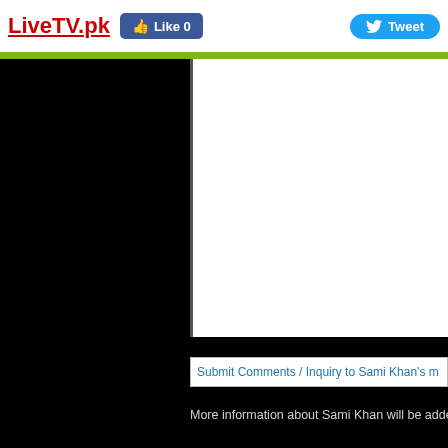LiveTV.pk  Like 0  Tweet
[Figure (screenshot): Black video player area on the left, white content panel on the right with a border]
Submit Comments / Inquiry to Sami Khan's m
More information about Sami Khan will be added soon.